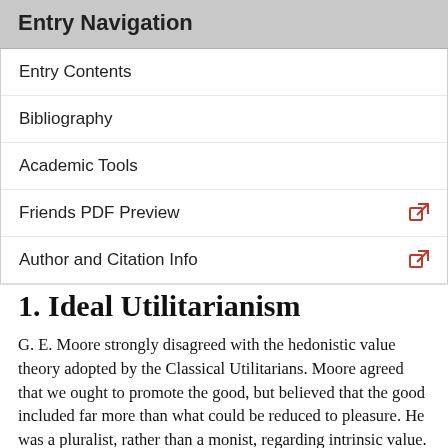Entry Navigation
Entry Contents
Bibliography
Academic Tools
Friends PDF Preview
Author and Citation Info
1. Ideal Utilitarianism
G. E. Moore strongly disagreed with the hedonistic value theory adopted by the Classical Utilitarians. Moore agreed that we ought to promote the good, but believed that the good included far more than what could be reduced to pleasure. He was a pluralist, rather than a monist, regarding intrinsic value. For example, he believed that ‘beauty’ was an intrinsic good. A beautiful object had value independent of any pleasure it might generate in a viewer. Thus, Moore differed from Sidgwick who regarded the good as consisting in some consciousness